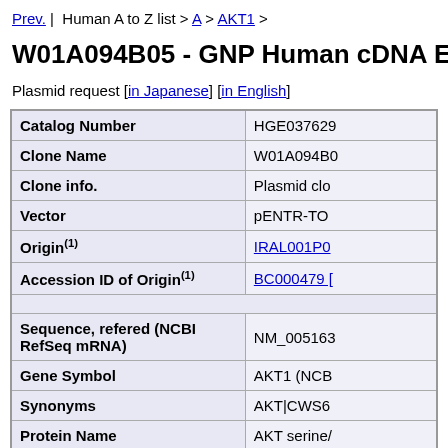Prev. | Human A to Z list > A > AKT1 >
W01A094B05 - GNP Human cDNA Entry
Plasmid request [in Japanese] [in English]
| Field | Value |
| --- | --- |
| Catalog Number | HGE037629 |
| Clone Name | W01A094B0 |
| Clone info. | Plasmid clo |
| Vector | pENTR-TO |
| Origin(1) | IRAL001P0 |
| Accession ID of Origin(1) | BC000479 [ |
| (spacer) |  |
| Sequence, refered (NCBI RefSeq mRNA) | NM_005163 |
| Gene Symbol | AKT1 (NCB |
| Synonyms | AKT|CWS6 |
| Protein Name | AKT serine/ |